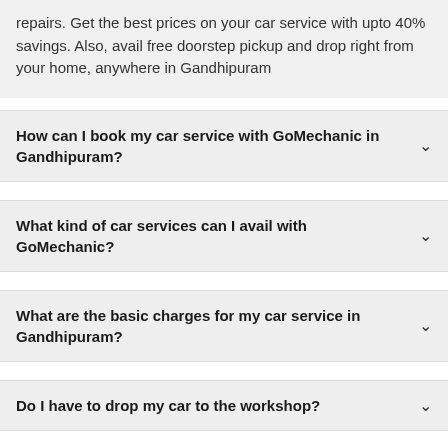repairs. Get the best prices on your car service with upto 40% savings. Also, avail free doorstep pickup and drop right from your home, anywhere in Gandhipuram
How can I book my car service with GoMechanic in Gandhipuram?
What kind of car services can I avail with GoMechanic?
What are the basic charges for my car service in Gandhipuram?
Do I have to drop my car to the workshop?
What if I am not satisfied with my car service?